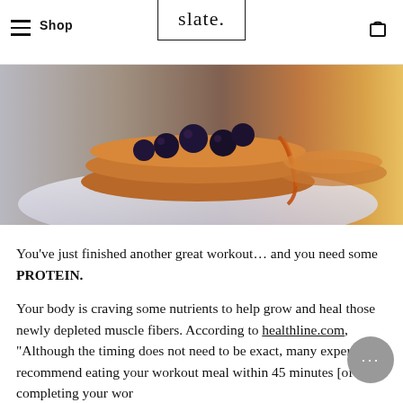Shop | slate.
[Figure (photo): Close-up photo of blueberry pancakes with syrup being poured on a plate]
You've just finished another great workout… and you need some PROTEIN.
Your body is craving some nutrients to help grow and heal those newly depleted muscle fibers. According to healthline.com, "Although the timing does not need to be exact, many experts recommend eating your workout meal within 45 minutes [of completing your wor
But the question is: What the heck do you eat!?